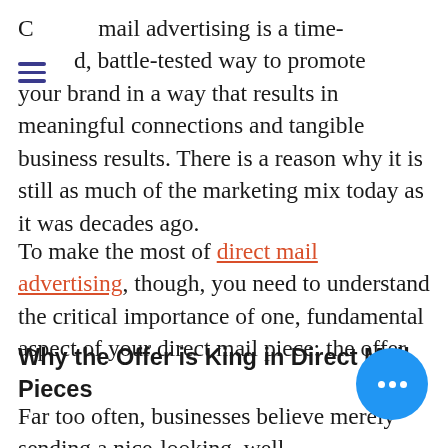mail advertising is a time-d, battle-tested way to promote your brand in a way that results in meaningful connections and tangible business results. There is a reason why it is still as much of the marketing mix today as it was decades ago.
To make the most of direct mail advertising, though, you need to understand the critical importance of one, fundamental aspect of your direct mail piece: the offer.
Why the Offer is King in Direct Mail Pieces
Far too often, businesses believe merely sending a nice-looking, well-